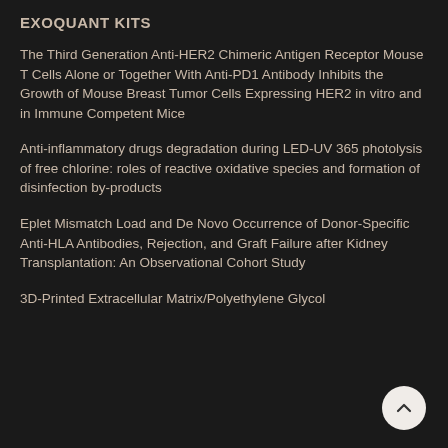EXOQUANT KITS
The Third Generation Anti-HER2 Chimeric Antigen Receptor Mouse T Cells Alone or Together With Anti-PD1 Antibody Inhibits the Growth of Mouse Breast Tumor Cells Expressing HER2 in vitro and in Immune Competent Mice
Anti-inflammatory drugs degradation during LED-UV 365 photolysis of free chlorine: roles of reactive oxidative species and formation of disinfection by-products
Eplet Mismatch Load and De Novo Occurrence of Donor-Specific Anti-HLA Antibodies, Rejection, and Graft Failure after Kidney Transplantation: An Observational Cohort Study
3D-Printed Extracellular Matrix/Polyethylene Glycol